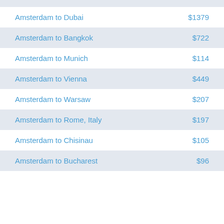| Route | Price |
| --- | --- |
| Amsterdam to Dubai | $1379 |
| Amsterdam to Bangkok | $722 |
| Amsterdam to Munich | $114 |
| Amsterdam to Vienna | $449 |
| Amsterdam to Warsaw | $207 |
| Amsterdam to Rome, Italy | $197 |
| Amsterdam to Chisinau | $105 |
| Amsterdam to Bucharest | $96 |